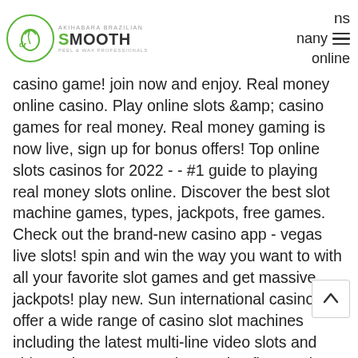ns nany online — [logo: Smooth Brazilian]
casino game! join now and enjoy. Real money online casino. Play online slots &amp; casino games for real money. Real money gaming is now live, sign up for bonus offers! Top online slots casinos for 2022 - - #1 guide to playing real money slots online. Discover the best slot machine games, types, jackpots, free games. Check out the brand-new casino app - vegas live slots! spin and win the way you want to with all your favorite slot games and get massive jackpots! play new. Sun international casinos offer a wide range of casino slot machines including the latest multi-line video slots and video poker games on the gaming floor. Enjoy the thrill of live casino gaming from the best software providers. Featuring up to +5000 games, exclusive promotions, vip program &amp; t... Slots combines